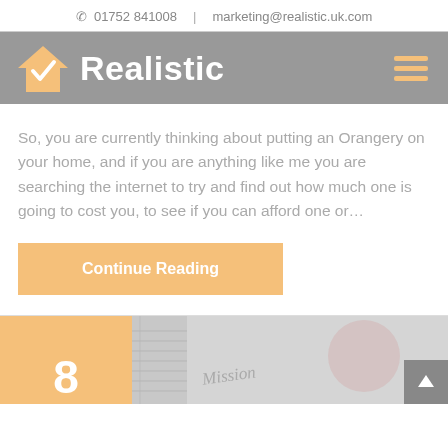☎ 01752 841008  |  marketing@realistic.uk.com
[Figure (logo): Realistic logo with orange house checkmark icon and white bold text 'Realistic' on grey navigation bar, with orange hamburger menu icon on right]
So, you are currently thinking about putting an Orangery on your home, and if you are anything like me you are searching the internet to try and find out how much one is going to cost you, to see if you can afford one or…
Continue Reading
[Figure (photo): Preview card showing orange square with number 8, notebook pages with handwriting 'Mission', and a cup of coffee on grey background. Scroll-to-top arrow button in bottom right.]